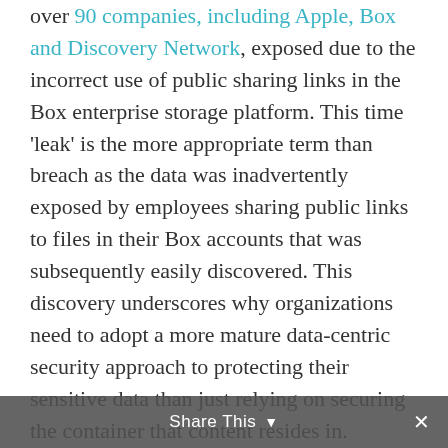over 90 companies, including Apple, Box and Discovery Network, exposed due to the incorrect use of public sharing links in the Box enterprise storage platform. This time 'leak' is the more appropriate term than breach as the data was inadvertently exposed by employees sharing public links to files in their Box accounts that was subsequently easily discovered. This discovery underscores why organizations need to adopt a more mature data-centric security approach to protecting their sensitive data than just relying on securing the container that content resides in.

The leaks were not caused by a flaw in Box as the ability to publicly share a folder and its contents with anyone via a simple link is...
Share This